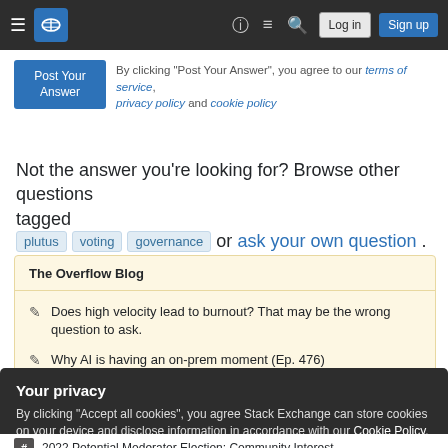Stack Exchange navigation bar with hamburger menu, logo, help, chat, search icons, Log in and Sign up buttons
By clicking "Post Your Answer", you agree to our terms of service, privacy policy and cookie policy
Not the answer you're looking for? Browse other questions tagged plutus voting governance or ask your own question.
The Overflow Blog
Does high velocity lead to burnout? That may be the wrong question to ask.
Why AI is having an on-prem moment (Ep. 476)
Your privacy
By clicking "Accept all cookies", you agree Stack Exchange can store cookies on your device and disclose information in accordance with our Cookie Policy.
2022 Potential Moderator Election: Community Interest